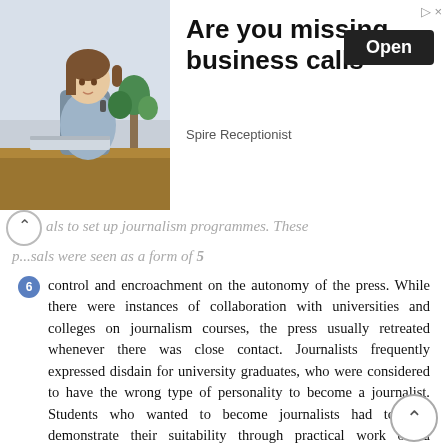[Figure (photo): Advertisement banner showing a woman at a desk in an office setting, with the text 'Are you missing business calls', a button labeled 'Open', and sponsor text 'Spire Receptionist']
als to set up journalism programmes. These p...sals were seen as a form of 5
6  control and encroachment on the autonomy of the press. While there were instances of collaboration with universities and colleges on journalism courses, the press usually retreated whenever there was close contact. Journalists frequently expressed disdain for university graduates, who were considered to have the wrong type of personality to become a journalist. Students who wanted to become journalists had to first demonstrate their suitability through practical work on a newspaper staff. Using Bourdieu, the difficult relationship between the journalistic field and the academic field on education is interpreted as a struggle between two forms of capital over which kind of knowledge is to be valued, called educational capital in the thesis. Marks and formal degrees went face to face with an experienced-based tradition of